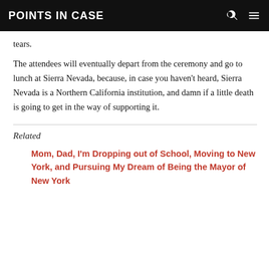POINTS IN CASE
tears.
The attendees will eventually depart from the ceremony and go to lunch at Sierra Nevada, because, in case you haven't heard, Sierra Nevada is a Northern California institution, and damn if a little death is going to get in the way of supporting it.
Related
Mom, Dad, I'm Dropping out of School, Moving to New York, and Pursuing My Dream of Being the Mayor of New York